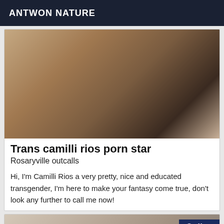ANTWON NATURE
[Figure (photo): Photo associated with listing: Trans camilli rios porn star]
Trans camilli rios porn star
Rosaryville outcalls
Hi, I'm Camilli Rios a very pretty, nice and educated transgender, I'm here to make your fantasy come true, don't look any further to call me now!
[Figure (photo): Second listing photo with Online badge overlay]